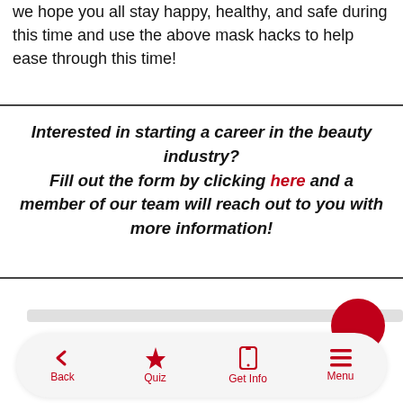we hope you all stay happy, healthy, and safe during this time and use the above mask hacks to help ease through this time!
Interested in starting a career in the beauty industry? Fill out the form by clicking here and a member of our team will reach out to you with more information!
Back | Quiz | Get Info | Menu